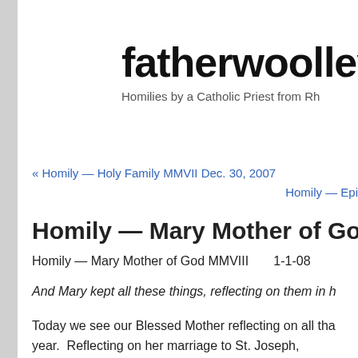fatherwoolley
Homilies by a Catholic Priest from Rh
« Homily — Holy Family MMVII Dec. 30, 2007
Homily — Epi
Homily — Mary Mother of God M
Homily — Mary Mother of God MMVIII        1-1-08
And Mary kept all these things, reflecting on them in h
Today we see our Blessed Mother reflecting on all tha year.  Reflecting on her marriage to St. Joseph, Archangel Gabriel made to her that she would be the on the Holy Spirit's overshadowing her, on her virgin